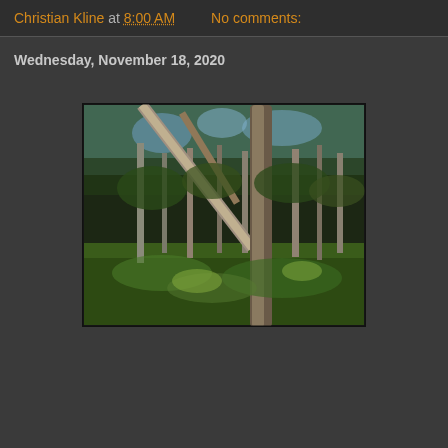Christian Kline at 8:00 AM   No comments:
Wednesday, November 18, 2020
[Figure (photo): A forest scene with tall pine and eucalyptus-like trees, two prominent leaning tree trunks in the foreground crossing diagonally, green shrubby undergrowth, and blue sky visible through the canopy.]